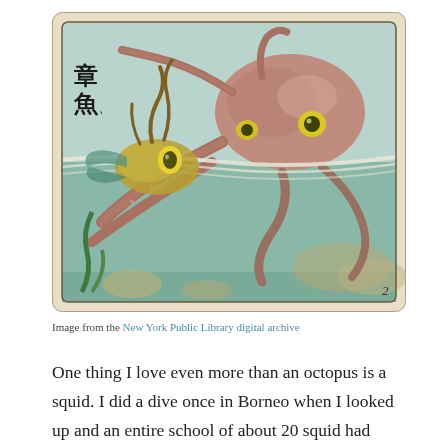[Figure (illustration): Vintage Japanese illustration card showing an octopus/squid creature with large yellow eyes and tentacles in an underwater scene. Chinese characters '章魚' visible in the upper left. A number '2' in the lower right corner. The card has aged, cream-colored borders with rounded corners.]
Image from the New York Public Library digital archive
One thing I love even more than an octopus is a squid. I did a dive once in Borneo when I looked up and an entire school of about 20 squid had materialised from nowhere right around my head. It was an odd, very eerie experience, almost like a sci-fi film (or Doctor Who episode), these squid suddenly